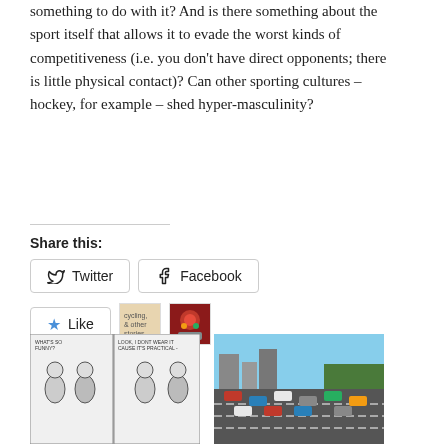something to do with it? And is there something about the sport itself that allows it to evade the worst kinds of competitiveness (i.e. you don't have direct opponents; there is little physical contact)? Can other sporting cultures – hockey, for example – shed hyper-masculinity?
Share this:
Twitter  Facebook
Like  [cycling & other stories thumbnail] [colorful image thumbnail]
2 bloggers like this.
[Figure (photo): Comic strip showing cyclists talking, black and white]
Why do People Make Fun of Spandex Bike
[Figure (photo): Aerial photo of a busy multi-lane highway in Toronto with heavy traffic]
Do Cyclists Pay for Drivers' Use of Toronto Roads?